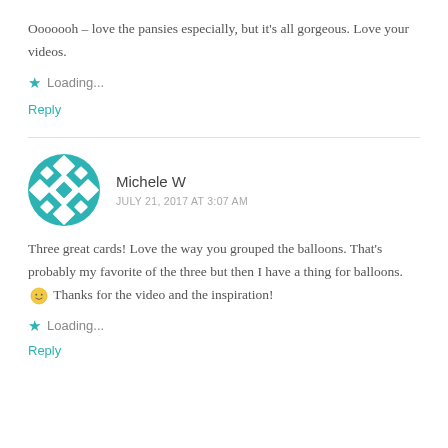Ooooooh – love the pansies especially, but it's all gorgeous. Love your videos.
Loading...
Reply
[Figure (illustration): Circular avatar icon with teal/cyan geometric diamond pattern on white background]
Michele W
JULY 21, 2017 AT 3:07 AM
Three great cards! Love the way you grouped the balloons. That's probably my favorite of the three but then I have a thing for balloons. 🙂 Thanks for the video and the inspiration!
Loading...
Reply